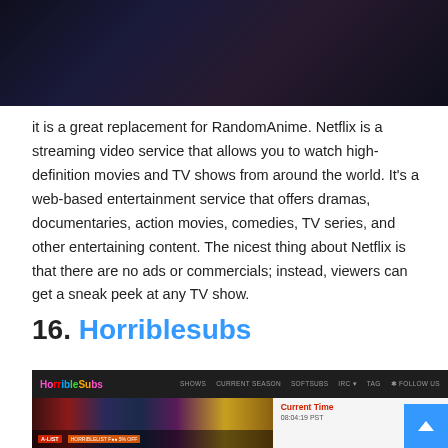[Figure (photo): Dark anime-themed header image with dark purple and blue tones]
it is a great replacement for RandomAnime. Netflix is a streaming video service that allows you to watch high-definition movies and TV shows from around the world. It's a web-based entertainment service that offers dramas, documentaries, action movies, comedies, TV series, and other entertaining content. The nicest thing about Netflix is that there are no ads or commercials; instead, viewers can get a sneak peek at any TV show.
16. Horriblesubs
[Figure (screenshot): Screenshot of HorribleSubs website showing anime listings, navigation bar with SHOWS, CURRENT SEASON, SOFTSUBS, IRC, TAG, FOLLOW US links, and a Current Time display showing 08:04:19 PST]